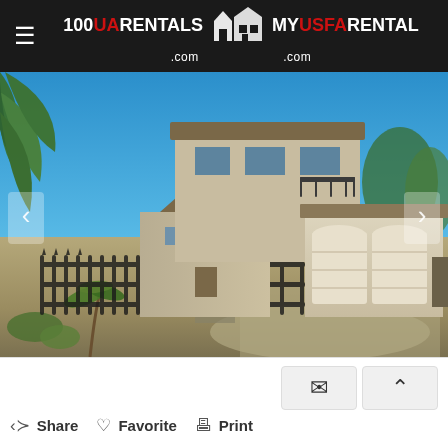100 UA RENTALS .com  MY USFA RENTAL .com
[Figure (photo): Exterior photo of a two-story stucco house with dark roof trim, iron fence in front, double garage doors on right, desert landscaping with palm plants, and blue sky background.]
[Figure (infographic): Bottom action bar with Share, Favorite, Print buttons and email/scroll-up icon buttons on right side.]